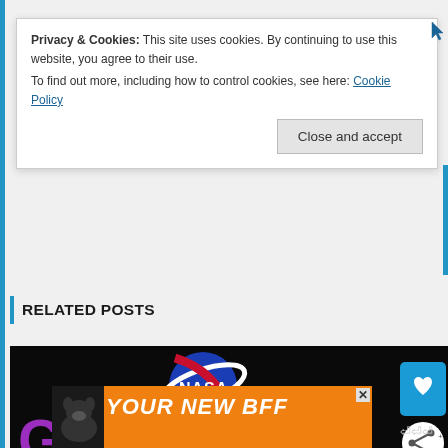Privacy & Cookies: This site uses cookies. By continuing to use this website, you agree to their use.
To find out more, including how to control cookies, see here: Cookie Policy
Close and accept
RELATED POSTS
[Figure (screenshot): Screenshot of a blog page showing NASA logo and 'Girls & STEM' graphic on a black background, with floating social share buttons (heart and share icon), and an orange advertisement banner at the bottom reading 'YOUR NEW BFF' with a dog image.]